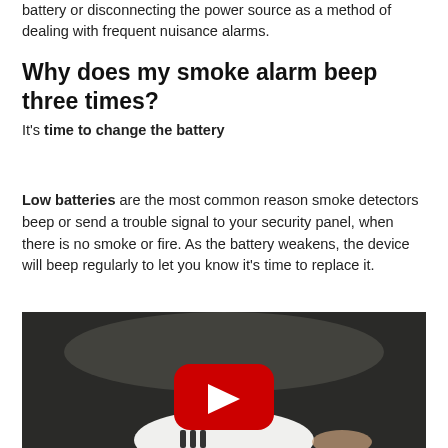battery or disconnecting the power source as a method of dealing with frequent nuisance alarms.
Why does my smoke alarm beep three times?
It's time to change the battery
Low batteries are the most common reason smoke detectors beep or send a trouble signal to your security panel, when there is no smoke or fire. As the battery weakens, the device will beep regularly to let you know it's time to replace it.
[Figure (screenshot): YouTube video thumbnail showing a smoke detector being held, with a red YouTube play button overlay in the center.]